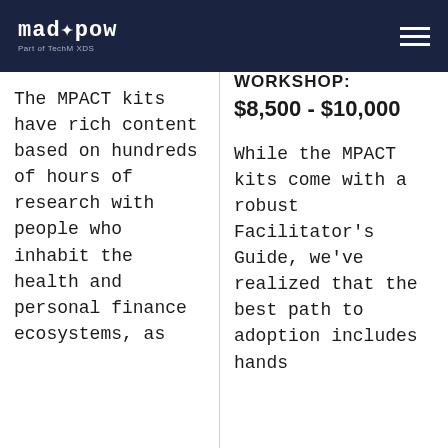mad*pow Part of TechM XDS
WORKSHOP: $8,500 - $10,000
The MPACT kits have rich content based on hundreds of hours of research with people who inhabit the health and personal finance ecosystems, as
While the MPACT kits come with a robust Facilitator's Guide, we've realized that the best path to adoption includes hands